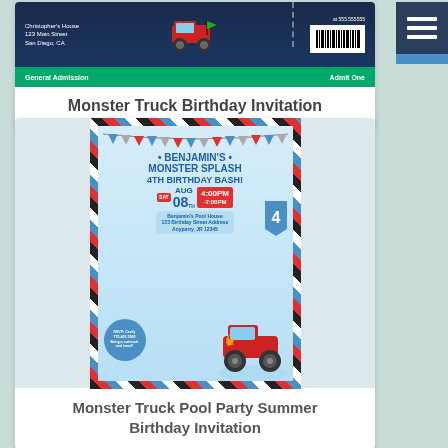[Figure (photo): Monster Truck Birthday Invitation card showing a ticket-style invitation with dark navy background, a red monster truck, address text on left, barcode on right, and green 'General Admission / Admit One' bottom bar]
Monster Truck Birthday Invitation
[Figure (photo): Monster Truck Pool Party Summer Birthday Invitation card showing a pool party invite with diagonal stripe border in red/black/blue/white, bunting decorations, text 'BENJAMIN'S MONSTER SPLASH 4TH BIRTHDAY BASH!', date SAT AUG 08TH, time 4:00PM-7:00PM, venue Benjamin's Pool House, RSVP circle, and a red monster truck with flames]
Monster Truck Pool Party Summer Birthday Invitation